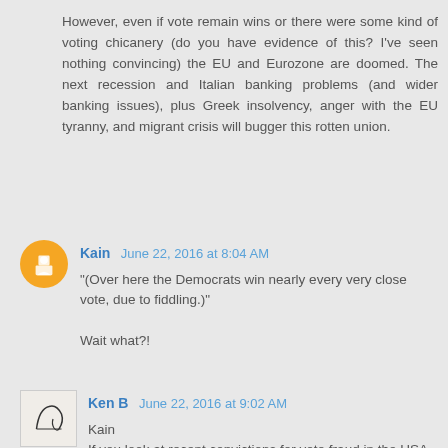However, even if vote remain wins or there were some kind of voting chicanery (do you have evidence of this? I've seen nothing convincing) the EU and Eurozone are doomed. The next recession and Italian banking problems (and wider banking issues), plus Greek insolvency, anger with the EU tyranny, and migrant crisis will bugger this rotten union.
Kain  June 22, 2016 at 8:04 AM
"(Over here the Democrats win nearly every very close vote, due to fiddling.)"

Wait what?!
Ken B  June 22, 2016 at 9:02 AM
Kain
If you look at recent convictions for vote fraud in the USA it is incredibly lopsided. And if you look